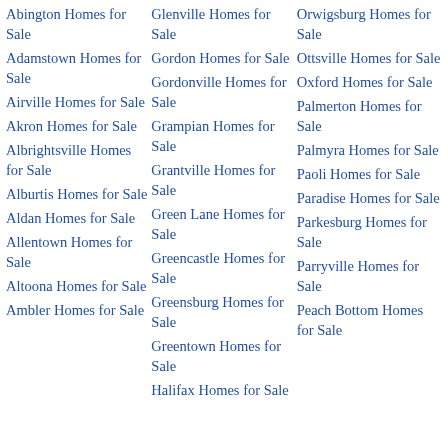Abington Homes for Sale
Adamstown Homes for Sale
Airville Homes for Sale
Akron Homes for Sale
Albrightsville Homes for Sale
Alburtis Homes for Sale
Aldan Homes for Sale
Allentown Homes for Sale
Altoona Homes for Sale
Ambler Homes for Sale
Glenville Homes for Sale
Gordon Homes for Sale
Gordonville Homes for Sale
Grampian Homes for Sale
Grantville Homes for Sale
Green Lane Homes for Sale
Greencastle Homes for Sale
Greensburg Homes for Sale
Greentown Homes for Sale
Halifax Homes for Sale
Orwigsburg Homes for Sale
Ottsville Homes for Sale
Oxford Homes for Sale
Palmerton Homes for Sale
Palmyra Homes for Sale
Paoli Homes for Sale
Paradise Homes for Sale
Parkesburg Homes for Sale
Parryville Homes for Sale
Peach Bottom Homes for Sale